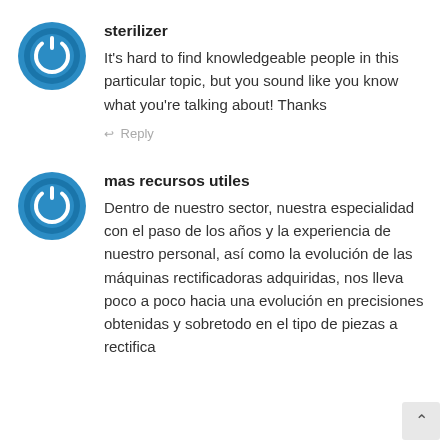[Figure (logo): Blue circular avatar icon with a power symbol]
sterilizer
It's hard to find knowledgeable people in this particular topic, but you sound like you know what you're talking about! Thanks
↩ Reply
[Figure (logo): Blue circular avatar icon with a power symbol]
mas recursos utiles
Dentro de nuestro sector, nuestra especialidad con el paso de los años y la experiencia de nuestro personal, así como la evolución de las máquinas rectificadoras adquiridas, nos lleva poco a poco hacia una evolución en precisiones obtenidas y sobretodo en el tipo de piezas a rectifica